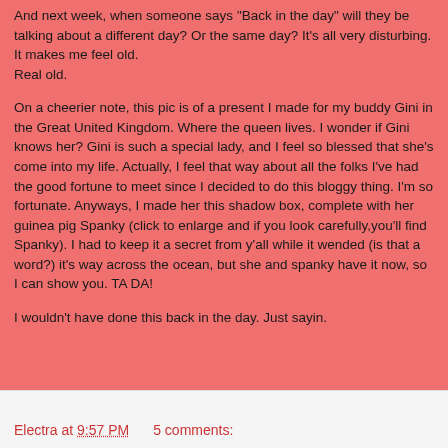And next week, when someone says "Back in the day" will they be talking about a different day? Or the same day? It's all very disturbing. It makes me feel old. Real old.
On a cheerier note, this pic is of a present I made for my buddy Gini in the Great United Kingdom. Where the queen lives. I wonder if Gini knows her? Gini is such a special lady, and I feel so blessed that she's come into my life. Actually, I feel that way about all the folks I've had the good fortune to meet since I decided to do this bloggy thing. I'm so fortunate. Anyways, I made her this shadow box, complete with her guinea pig Spanky (click to enlarge and if you look carefully,you'll find Spanky). I had to keep it a secret from y'all while it wended (is that a word?) it's way across the ocean, but she and spanky have it now, so I can show you. TA DA!
I wouldn't have done this back in the day. Just sayin.
Electra at 9:57 PM    5 comments: